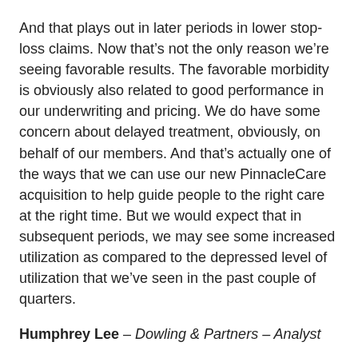And that plays out in later periods in lower stop-loss claims. Now that’s not the only reason we’re seeing favorable results. The favorable morbidity is obviously also related to good performance in our underwriting and pricing. We do have some concern about delayed treatment, obviously, on behalf of our members. And that’s actually one of the ways that we can use our new PinnacleCare acquisition to help guide people to the right care at the right time. But we would expect that in subsequent periods, we may see some increased utilization as compared to the depressed level of utilization that we’ve seen in the past couple of quarters.
Humphrey Lee – Dowling & Partners – Analyst
Yes. That’s more on the tenant demand or kind of normalization of activities. But given some of the kind of